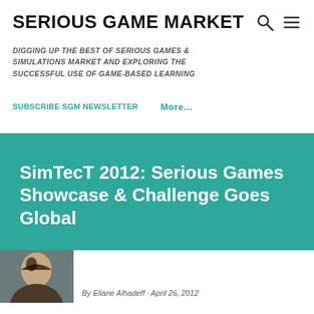SERIOUS GAME MARKET
DIGGING UP THE BEST OF SERIOUS GAMES & SIMULATIONS MARKET AND EXPLORING THE SUCCESSFUL USE OF GAME-BASED LEARNING
SUBSCRIBE SGM NEWSLETTER    More...
SimTecT 2012: Serious Games Showcase & Challenge Goes Global
By Eliane Alhadeff · April 26, 2012